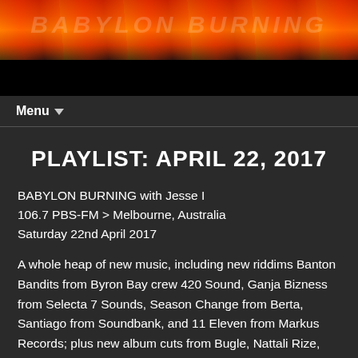[Figure (illustration): Website header banner with orange and red flame imagery on dark background with white stylized text overlay]
Menu ▼
PLAYLIST: APRIL 22, 2017
BABYLON BURNING with Jesse I
106.7 PBS-FM > Melbourne, Australia
Saturday 22nd April 2017
A whole heap of new music, including new riddims Banton Bandits from Byron Bay crew 420 Sound, Ganja Bizness from Selecta 7 Sounds, Season Change from Berta, Santiago from Soundbank, and 11 Eleven from Markus Records; plus new album cuts from Bugle, Nattali Rize, and Morgan Heritage.
BUGLE – Devalue (Be Yourself: Anointed Entertainment)
WAYNE WADE – Down In Iran (Thompson Sound) trs
THE MIGHTY DIAMONDS – Pray Unto Thee (Harry J)